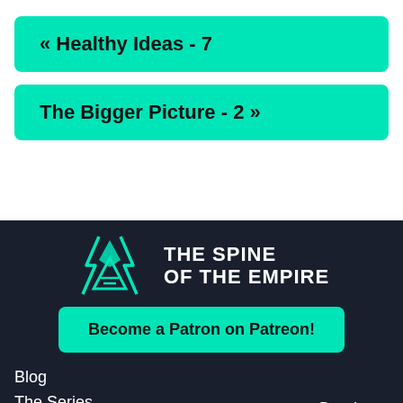« Healthy Ideas - 7
The Bigger Picture - 2 »
[Figure (logo): The Spine of the Empire logo: lightning bolts and triangle symbol with text 'THE SPINE OF THE EMPIRE' in white on dark background]
Become a Patron on Patreon!
Blog
The Series
Short Stories
The Lost Novella
Database